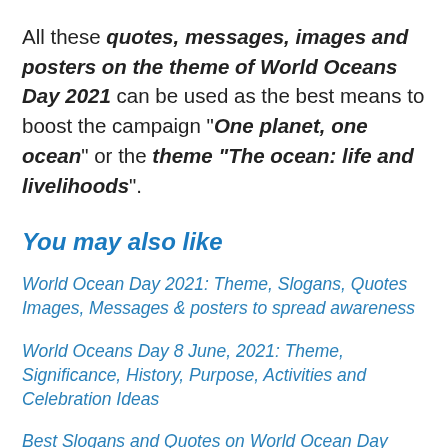All these quotes, messages, images and posters on the theme of World Oceans Day 2021 can be used as the best means to boost the campaign "One planet, one ocean" or the theme "The ocean: life and livelihoods".
You may also like
World Ocean Day 2021: Theme, Slogans, Quotes Images, Messages & posters to spread awareness
World Oceans Day 8 June, 2021: Theme, Significance, History, Purpose, Activities and Celebration Ideas
Best Slogans and Quotes on World Ocean Day 2021 with Images, messages and Posters